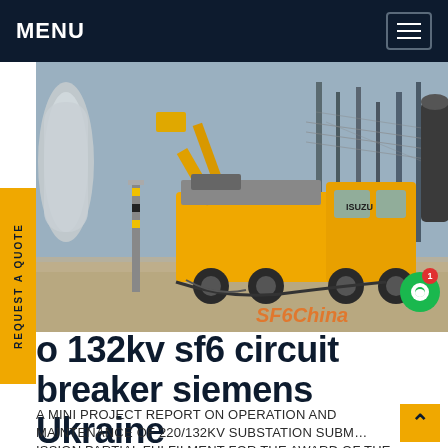MENU
[Figure (photo): Photograph of a yellow Isuzu service truck with a crane arm extended, positioned at an electrical substation with high-voltage equipment visible. Watermark 'SF6China' in orange italic text at bottom right.]
REQUEST A QUOTE
o 132kv sf6 circuit breaker siemens Ukraine
A MINI PROJECT REPORT ON OPERATION AND MAINTENANCE OF 220/132KV SUBSTATION Subm… ission partial fulfilment for the award of the Degree of…